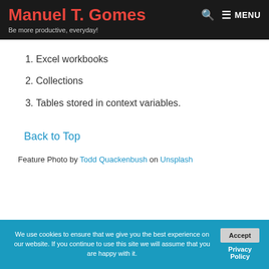Manuel T. Gomes — Be more productive, everyday!
1. Excel workbooks
2. Collections
3. Tables stored in context variables.
Back to Top
Feature Photo by Todd Quackenbush on Unsplash
We use cookies to ensure that we give you the best experience on our website. If you continue to use this site we will assume that you are happy with it. Accept  Privacy Policy